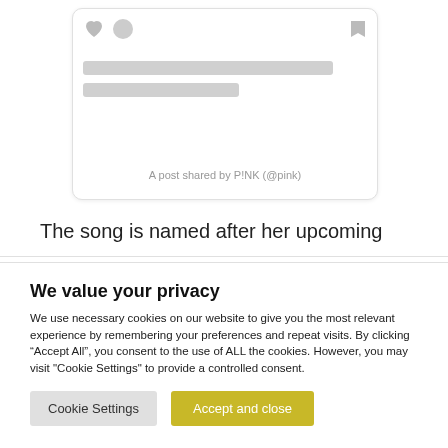[Figure (screenshot): Social media post card placeholder with heart icon, circle icon, bookmark icon, two gray loading placeholder lines, and a caption reading 'A post shared by P!NK (@pink)']
The song is named after her upcoming
We value your privacy
We use necessary cookies on our website to give you the most relevant experience by remembering your preferences and repeat visits. By clicking “Accept All”, you consent to the use of ALL the cookies. However, you may visit "Cookie Settings" to provide a controlled consent.
Cookie Settings | Accept and close